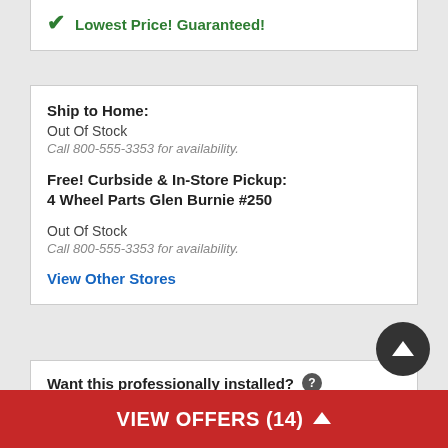✓ Lowest Price! Guaranteed!
Ship to Home:
Out Of Stock
Call 800-555-3353 for availability.

Free! Curbside & In-Store Pickup:
4 Wheel Parts Glen Burnie #250

Out Of Stock
Call 800-555-3353 for availability.
View Other Stores
Want this professionally installed? ?
Bestop Trektop NX Soft Top (Black Diamond)
VIEW OFFERS (14) ^